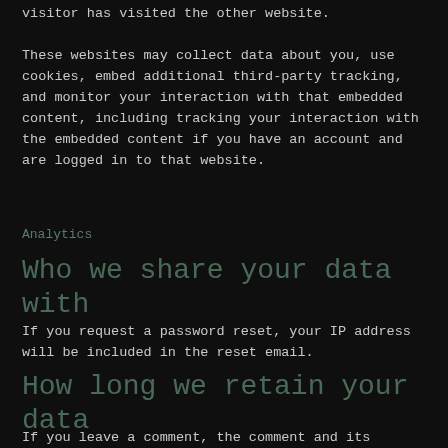visitor has visited the other website.
These websites may collect data about you, use cookies, embed additional third-party tracking, and monitor your interaction with that embedded content, including tracking your interaction with the embedded content if you have an account and are logged in to that website.
Analytics
Who we share your data with
If you request a password reset, your IP address will be included in the reset email.
How long we retain your data
If you leave a comment, the comment and its metadata